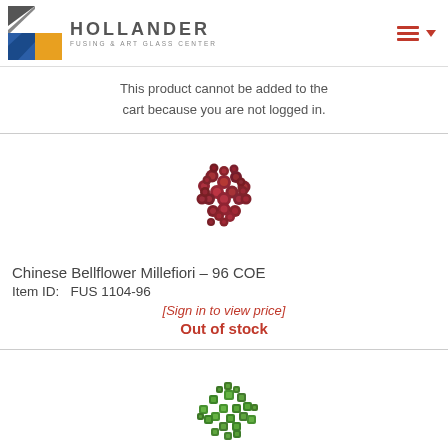HOLLANDER FUSING & ART GLASS CENTER
This product cannot be added to the cart because you are not logged in.
[Figure (photo): Chinese Bellflower Millefiori - 96 COE, red/dark millefiori glass pieces clustered together]
Chinese Bellflower Millefiori - 96 COE
Item ID:   FUS 1104-96
[Sign in to view price]
Out of stock
[Figure (photo): Green Hip To Be Square Millefiori - 96 COE, green square millefiori glass pieces scattered]
Green Hip To Be Square Millefiori - 96 COE
Item ID:   FUS SQ05-96